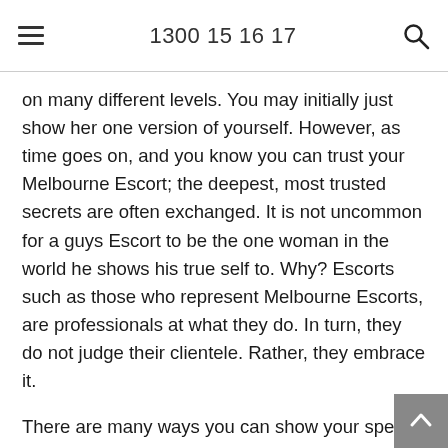1300 15 16 17
on many different levels. You may initially just show her one version of yourself. However, as time goes on, and you know you can trust your Melbourne Escort; the deepest, most trusted secrets are often exchanged. It is not uncommon for a guys Escort to be the one woman in the world he shows his true self to. Why? Escorts such as those who represent Melbourne Escorts, are professionals at what they do. In turn, they do not judge their clientele. Rather, they embrace it.
There are many ways you can show your special Escort that you care for her, and / or appreciate her. What woman doesn’t like to be made feel special? A gift that you know she would love is the perfect way. One of the best ways, and most simple, is to ask her.